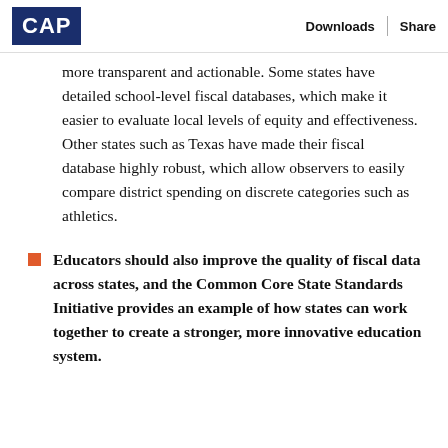CAP | Downloads | Share
more transparent and actionable. Some states have detailed school-level fiscal databases, which make it easier to evaluate local levels of equity and effectiveness. Other states such as Texas have made their fiscal database highly robust, which allow observers to easily compare district spending on discrete categories such as athletics.
Educators should also improve the quality of fiscal data across states, and the Common Core State Standards Initiative provides an example of how states can work together to create a stronger, more innovative education system.